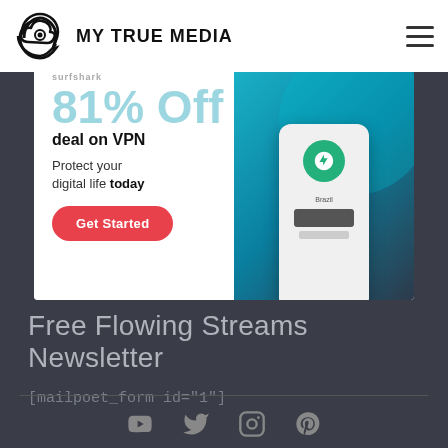MY TRUE MEDIA
[Figure (infographic): Surfshark VPN advertisement banner showing '81% Off deal on VPN', 'Protect your digital life today', a red 'Get Started' button, and a phone graphic on teal/dark background]
Free Flowing Streams Newsletter
[mailpoet_form id="1"]